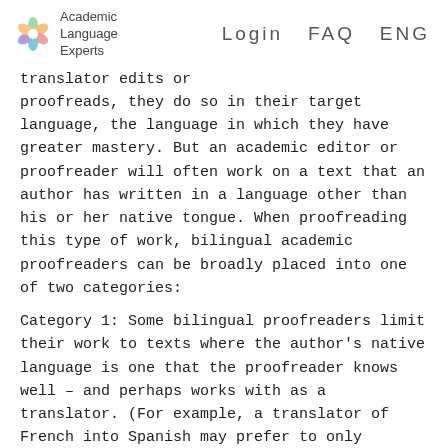Academic Language Experts   Login  FAQ  ENG
translator edits or proofreads, they do so in their target language, the language in which they have greater mastery. But an academic editor or proofreader will often work on a text that an author has written in a language other than his or her native tongue. When proofreading this type of work, bilingual academic proofreaders can be broadly placed into one of two categories:
Category 1: Some bilingual proofreaders limit their work to texts where the author's native language is one that the proofreader knows well – and perhaps works with as a translator. (For example, a translator of French into Spanish may prefer to only proofread papers written in Spanish by native French speakers.)
Category 2: Others proofread papers authored by academics from a wide range of linguistic backgrounds, all of whom choose to write in a language that, while non-native to them, is the proofreader's mother tongue. (Based on our example above, the proof-reader works on